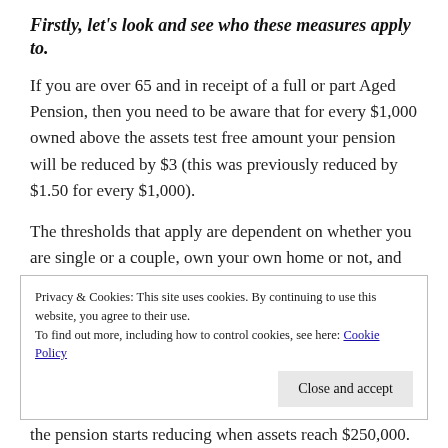Firstly, let's look and see who these measures apply to.
If you are over 65 and in receipt of a full or part Aged Pension, then you need to be aware that for every $1,000 owned above the assets test free amount your pension will be reduced by $3 (this was previously reduced by $1.50 for every $1,000).
The thresholds that apply are dependent on whether you are single or a couple, own your own home or not, and are either in receipt of a full or part pension.
Privacy & Cookies: This site uses cookies. By continuing to use this website, you agree to their use.
To find out more, including how to control cookies, see here: Cookie Policy
the pension starts reducing when assets reach $250,000.